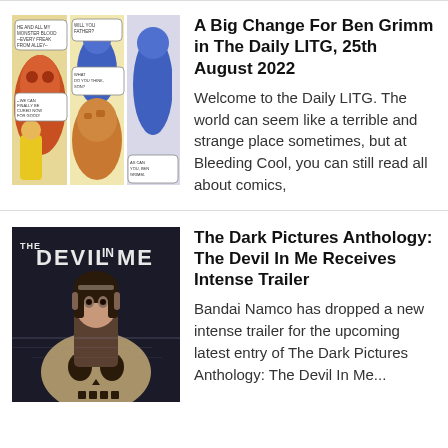[Figure (illustration): Comic book panels showing characters including The Thing (Ben Grimm) and other Marvel characters with speech bubbles]
A Big Change For Ben Grimm in The Daily LITG, 25th August 2022
Welcome to the Daily LITG. The world can seem like a terrible and strange place sometimes, but at Bleeding Cool, you can still read all about comics,
[Figure (illustration): The Dark Pictures Anthology: The Devil In Me game cover art showing a woman and a skull]
The Dark Pictures Anthology: The Devil In Me Receives Intense Trailer
Bandai Namco has dropped a new intense trailer for the upcoming latest entry of The Dark Pictures Anthology: The Devil In Me...